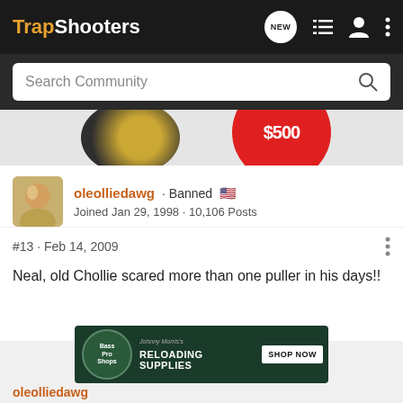TrapShooters
Search Community
[Figure (photo): Partial advertisement image showing a shotgun shell and a red circle with $500 price]
oleolliedawg · Banned 🇺🇸
Joined Jan 29, 1998 · 10,106 Posts
#13 · Feb 14, 2009
Neal, old Chollie scared more than one puller in his days!!
[Figure (photo): Bass Pro Shops advertisement banner for Reloading Supplies with Shop Now button]
oleolliedawg